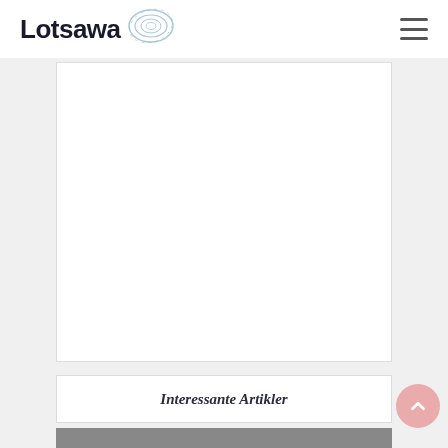Lotsawa [logo with swirl graphic] [hamburger menu icon]
[Figure (other): White advertisement placeholder box]
Interessante Artikler
[Figure (photo): Partial photo visible at bottom of page]